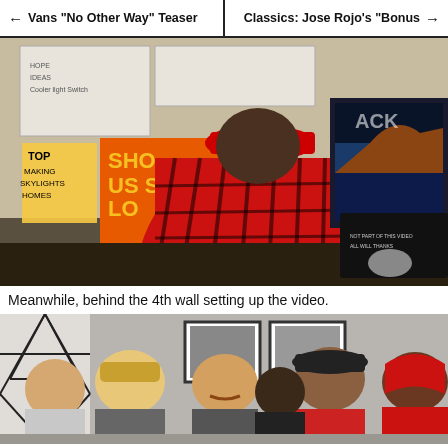← Vans "No Other Way" Teaser    Classics: Jose Rojo's "Bonus →
[Figure (photo): Person wearing red plaid shirt and red cap leaning over a computer desk in an office setting with whiteboards and monitors]
Meanwhile, behind the 4th wall setting up the video.
[Figure (photo): Group of people including several young men looking upward, indoors with framed pictures on the wall behind them]